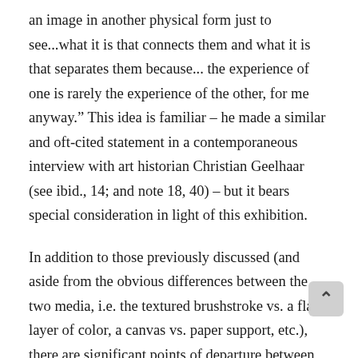an image in another physical form just to see...what it is that connects them and what it is that separates them because... the experience of one is rarely the experience of the other, for me anyway." This idea is familiar – he made a similar and oft-cited statement in a contemporaneous interview with art historian Christian Geelhaar (see ibid., 14; and note 18, 40) – but it bears special consideration in light of this exhibition.
In addition to those previously discussed (and aside from the obvious differences between the two media, i.e. the textured brushstroke vs. a flat layer of color, a canvas vs. paper support, etc.), there are significant points of departure between the painting and the screenprint of The Dutch Wives. As noted in the exhibition label copy and